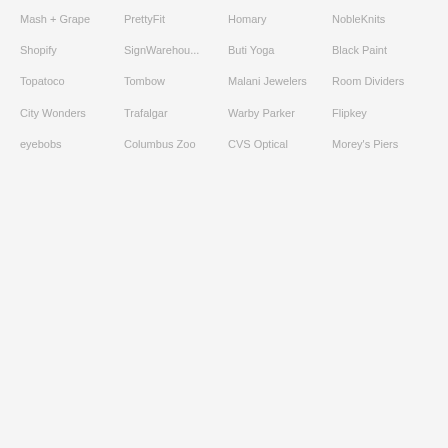Mash + Grape
PrettyFit
Homary
NobleKnits
Shopify
SignWarehou...
Buti Yoga
Black Paint
Topatoco
Tombow
Malani Jewelers
Room Dividers
City Wonders
Trafalgar
Warby Parker
Flipkey
eyebobs
Columbus Zoo
CVS Optical
Morey's Piers